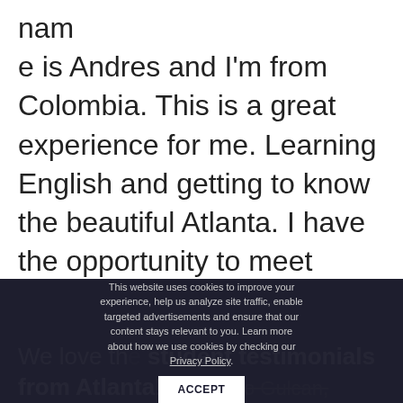nam e is Andres and I'm from Colombia. This is a great experience for me. Learning English and getting to know the beautiful Atlanta. I have the opportunity to meet people from around the world. I came here to learn English because it is important for my career. A big thank you to TALK Atlanta for your kindness!
This website uses cookies to improve your experience, help us analyze site traffic, enable targeted advertisements and ensure that our content stays relevant to you. Learn more about how we use cookies by checking our Privacy Policy.
We love the student testimonials from Atlanta! Thanks to Gulcan,